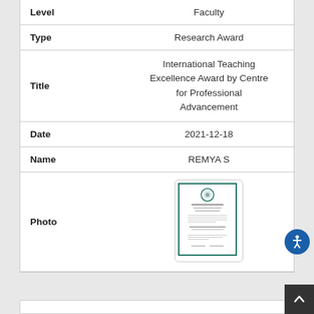| Field | Value |
| --- | --- |
| Level | Faculty |
| Type | Research Award |
| Title | International Teaching Excellence Award by Centre for Professional Advancement |
| Date | 2021-12-18 |
| Name | REMYA S |
| Photo | [certificate image] |
[Figure (photo): Thumbnail of a certificate with teal/green border, showing award certificate text and a circular emblem at the top.]